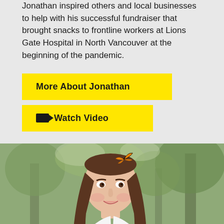Jonathan inspired others and local businesses to help with his successful fundraiser that brought snacks to frontline workers at Lions Gate Hospital in North Vancouver at the beginning of the pandemic.
More About Jonathan
Watch Video
[Figure (photo): A young woman with long brown hair smiling, with monarch butterflies around her. Background is an outdoor garden/forest setting with green foliage and trees.]